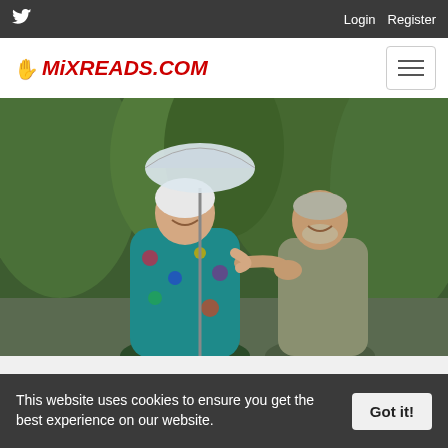Twitter Login Register
[Figure (logo): MixReads.com logo with hand icon]
[Figure (photo): Two elderly people outdoors smiling, a woman in a teal patterned dress holding a white umbrella, assisted by an older man in a khaki shirt, with green tall grass in the background.]
This website uses cookies to ensure you get the best experience on our website.